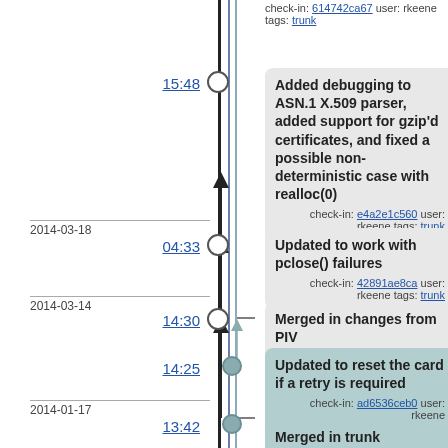check-in: 614742ca67 user: rkeene tags: trunk
15:48
Added debugging to ASN.1 X.509 parser, added support for gzip'd certificates, and fixed a possible non-deterministic case with realloc(0)
check-in: e4a2e1c560 user: rkeene tags: trunk
2014-03-18
04:33
Updated to work with pclose() failures
check-in: 42891ae8ca user: rkeene tags: trunk
2014-03-14
14:30
Merged in changes from PIV
check-in: 8ba93699b4 user: rkeene tags: trunk
14:25
Updated to reset the card if a retry is required
check-in: ad6536ceb0 user: rkeene tags: protected-auth-path
2014-01-17
13:42
Merged in trunk